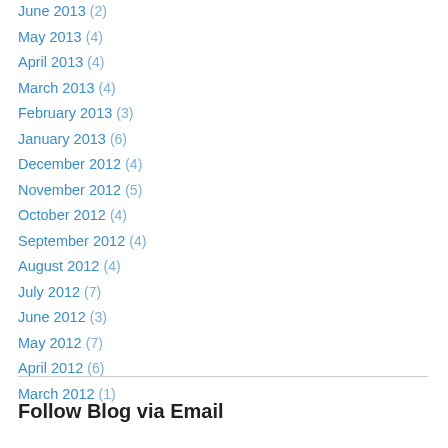June 2013 (2)
May 2013 (4)
April 2013 (4)
March 2013 (4)
February 2013 (3)
January 2013 (6)
December 2012 (4)
November 2012 (5)
October 2012 (4)
September 2012 (4)
August 2012 (4)
July 2012 (7)
June 2012 (3)
May 2012 (7)
April 2012 (6)
March 2012 (1)
Follow Blog via Email